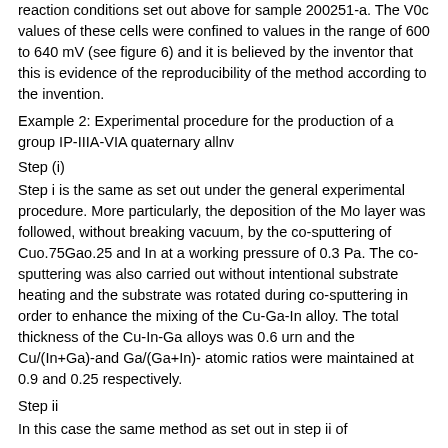reaction conditions set out above for sample 200251-a. The V0c values of these cells were confined to values in the range of 600 to 640 mV (see figure 6) and it is believed by the inventor that this is evidence of the reproducibility of the method according to the invention.
Example 2: Experimental procedure for the production of a group IP-IIIA-VIA quaternary allnv
Step (i)
Step i is the same as set out under the general experimental procedure. More particularly, the deposition of the Mo layer was followed, without breaking vacuum, by the co-sputtering of Cuo.75Gao.25 and In at a working pressure of 0.3 Pa. The co-sputtering was also carried out without intentional substrate heating and the substrate was rotated during co-sputtering in order to enhance the mixing of the Cu-Ga-In alloy. The total thickness of the Cu-In-Ga alloys was 0.6 urn and the Cu/(In+Ga)-and Ga/(Ga+In)- atomic ratios were maintained at 0.9 and 0.25 respectively.
Step ii
In this case the same method as set out in step ii of